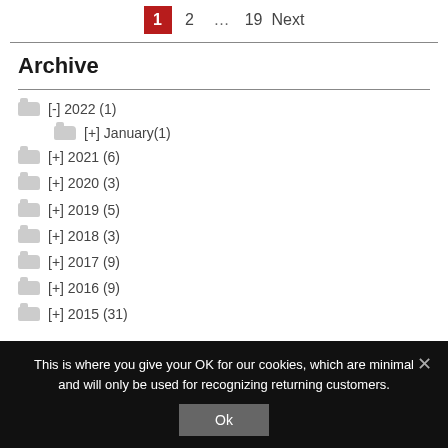Pagination: 1 (active), 2, ..., 19, Next
Archive
[-] 2022 (1)
[+] January(1)
[+] 2021 (6)
[+] 2020 (3)
[+] 2019 (5)
[+] 2018 (3)
[+] 2017 (9)
[+] 2016 (9)
[+] 2015 (31)
This is where you give your OK for our cookies, which are minimal and will only be used for recognizing returning customers.
Ok